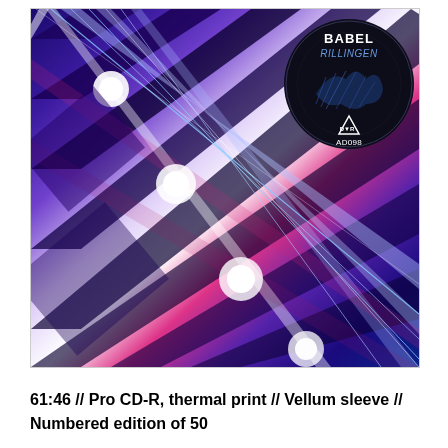[Figure (photo): Close-up photo of a guitar fretboard/neck rendered in high-contrast blue, purple, magenta and white tones. Guitar strings run diagonally across the image. A circular record label disc is overlaid in the upper right corner showing 'BABEL / RILLINGEN' with a triangle logo and catalog number AD098.]
61:46 // Pro CD-R, thermal print // Vellum sleeve // Numbered edition of 50